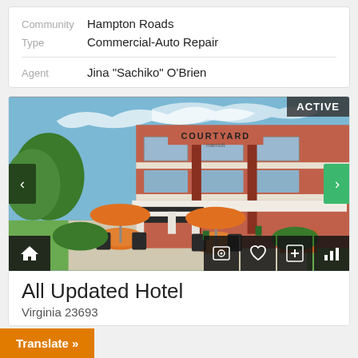Community  Hampton Roads
Type  Commercial-Auto Repair
Agent  Jina "Sachiko" O'Brien
[Figure (photo): Exterior photo of Courtyard Marriott hotel, a multi-story brick building with outdoor patio seating and orange umbrellas. Shows 'ACTIVE' badge in top right corner, navigation arrows, and icon bar at bottom.]
All Updated Hotel
Virginia 23693